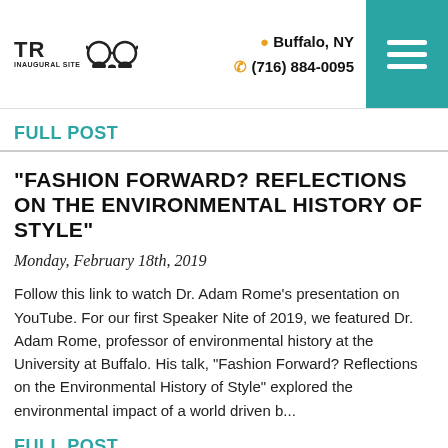TR INAUGURAL SITE | Buffalo, NY | (716) 884-0095
FULL POST
"FASHION FORWARD? REFLECTIONS ON THE ENVIRONMENTAL HISTORY OF STYLE"
Monday, February 18th, 2019
Follow this link to watch Dr. Adam Rome’s presentation on YouTube. For our first Speaker Nite of 2019, we featured Dr. Adam Rome, professor of environmental history at the University at Buffalo. His talk, "Fashion Forward? Reflections on the Environmental History of Style" explored the environmental impact of a world driven b...
FULL POST